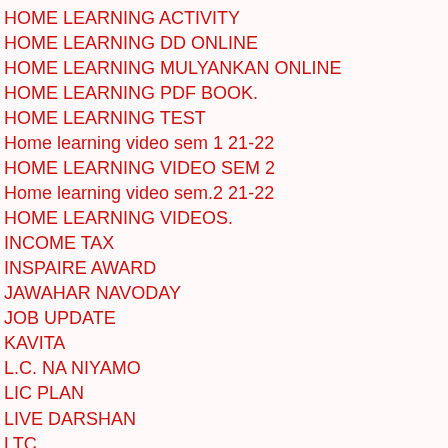HOME LEARNING ACTIVITY
HOME LEARNING DD ONLINE
HOME LEARNING MULYANKAN ONLINE
HOME LEARNING PDF BOOK.
HOME LEARNING TEST
Home learning video sem 1 21-22
HOME LEARNING VIDEO SEM 2
Home learning video sem.2 21-22
HOME LEARNING VIDEOS.
INCOME TAX
INSPAIRE AWARD
JAWAHAR NAVODAY
JOB UPDATE
KAVITA
L.C. NA NIYAMO
LIC PLAN
LIVE DARSHAN
LTC